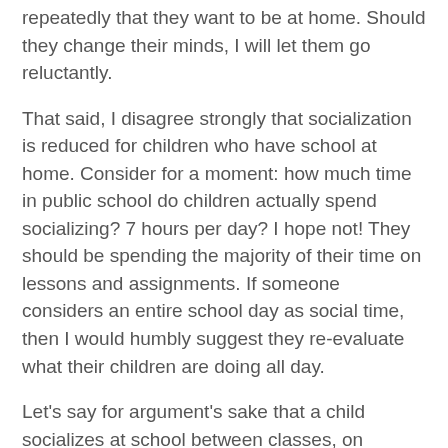repeatedly that they want to be at home. Should they change their minds, I will let them go reluctantly.
That said, I disagree strongly that socialization is reduced for children who have school at home. Consider for a moment: how much time in public school do children actually spend socializing? 7 hours per day? I hope not! They should be spending the majority of their time on lessons and assignments. If someone considers an entire school day as social time, then I would humbly suggest they re-evaluate what their children are doing all day.
Let's say for argument's sake that a child socializes at school between classes, on recess, at lunch, and going to and from school. In my opinion, 2 hours a day is a good